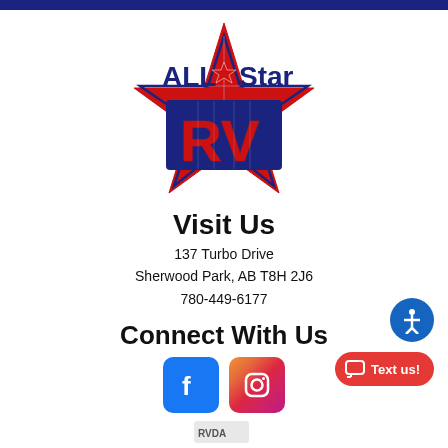[Figure (logo): All Star RV logo with a large red and blue star, text 'All Star' in navy blue above 'RV' in bold red letters]
Visit Us
137 Turbo Drive
Sherwood Park, AB T8H 2J6
780-449-6177
Connect With Us
[Figure (logo): Facebook and Instagram social media icon buttons, and RVDA logos below]
[Figure (other): Text us button (red pill-shaped button) and blue accessibility icon button]